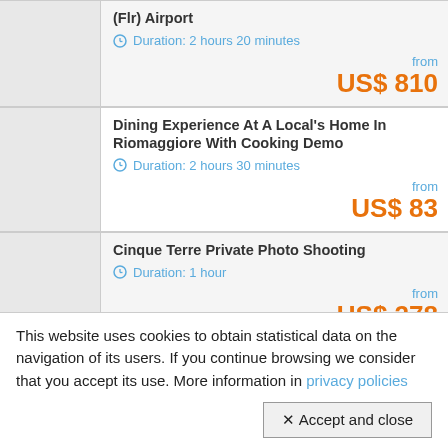(Flr) Airport — Duration: 2 hours 20 minutes — from US$ 810
Dining Experience At A Local's Home In Riomaggiore With Cooking Demo — Duration: 2 hours 30 minutes — from US$ 83
Cinque Terre Private Photo Shooting — Duration: 1 hour — from US$ 278
Clinque Terre Private Walking Tour With Professional Guide
This website uses cookies to obtain statistical data on the navigation of its users. If you continue browsing we consider that you accept its use. More information in privacy policies